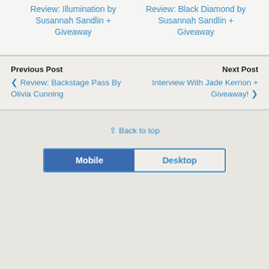Review: Illumination by Susannah Sandlin + Giveaway
Review: Black Diamond by Susannah Sandlin + Giveaway
Previous Post
❮ Review: Backstage Pass By Olivia Cunning
Next Post
Interview With Jade Kerrion + Giveaway! ❯
⇪ Back to top
Mobile | Desktop